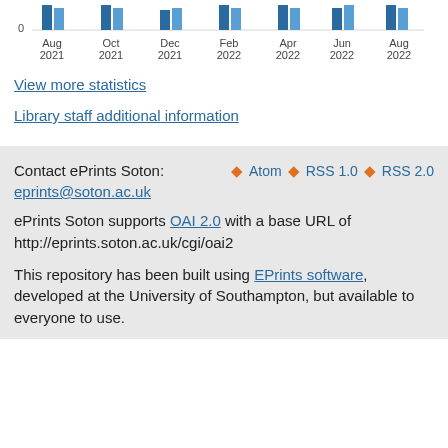[Figure (bar-chart): Downloads by month]
View more statistics
Library staff additional information
Contact ePrints Soton: eprints@soton.ac.uk
Atom RSS 1.0 RSS 2.0
ePrints Soton supports OAI 2.0 with a base URL of http://eprints.soton.ac.uk/cgi/oai2
This repository has been built using EPrints software, developed at the University of Southampton, but available to everyone to use.